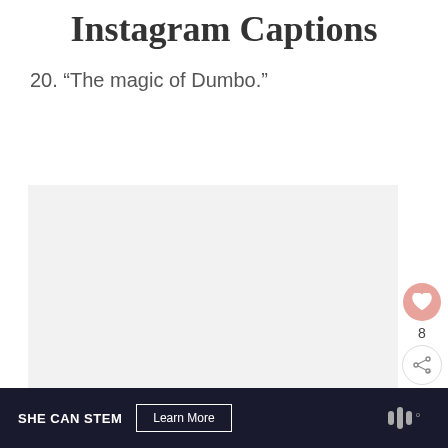Short Brooklyn Bridge Instagram Captions
20. “The magic of Dumbo.”
[Figure (photo): Blank/placeholder image area with light gray background, part of an Instagram caption blog post]
SHE CAN STEM  Learn More